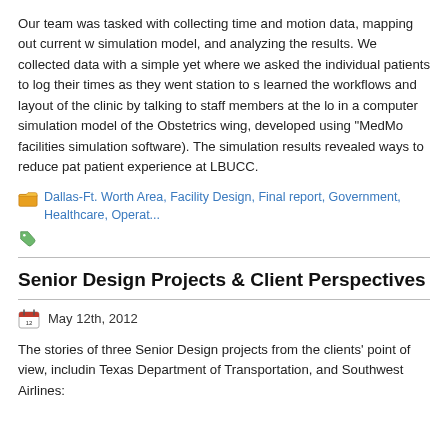Our team was tasked with collecting time and motion data, mapping out current workflow, building a simulation model, and analyzing the results. We collected data with a simple yet effective method, where we asked the individual patients to log their times as they went station to station. We also learned the workflows and layout of the clinic by talking to staff members at the location. This resulted in a computer simulation model of the Obstetrics wing, developed using "MedModel" (a healthcare facilities simulation software). The simulation results revealed ways to reduce patient wait time and patient experience at LBUCC.
Dallas-Ft. Worth Area, Facility Design, Final report, Government, Healthcare, Operations...
Senior Design Projects & Client Perspectives
May 12th, 2012
The stories of three Senior Design projects from the clients' point of view, including Texas Department of Transportation, and Southwest Airlines: